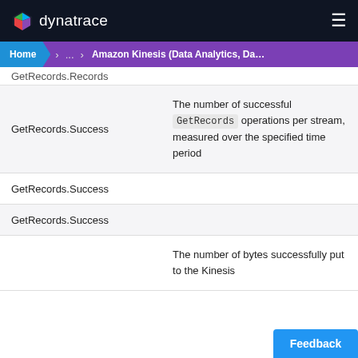dynatrace
Home > ... > Amazon Kinesis (Data Analytics, Data Fire...
GetRecords.Records
|  |  |
| --- | --- |
| GetRecords.Success | The number of successful GetRecords operations per stream, measured over the specified time period |
| GetRecords.Success |  |
| GetRecords.Success |  |
|  | The number of bytes successfully put to the Kinesis |
Feedback